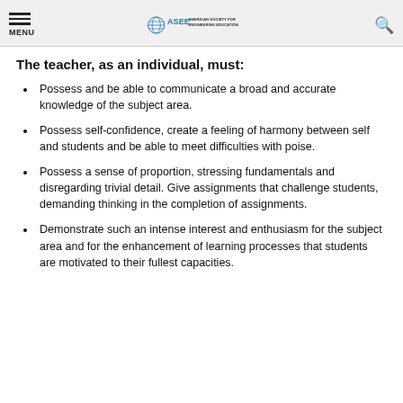MENU | ASEE AMERICAN SOCIETY FOR ENGINEERING EDUCATION
The teacher, as an individual, must:
Possess and be able to communicate a broad and accurate knowledge of the subject area.
Possess self-confidence, create a feeling of harmony between self and students and be able to meet difficulties with poise.
Possess a sense of proportion, stressing fundamentals and disregarding trivial detail. Give assignments that challenge students, demanding thinking in the completion of assignments.
Demonstrate such an intense interest and enthusiasm for the subject area and for the enhancement of learning processes that students are motivated to their fullest capacities.